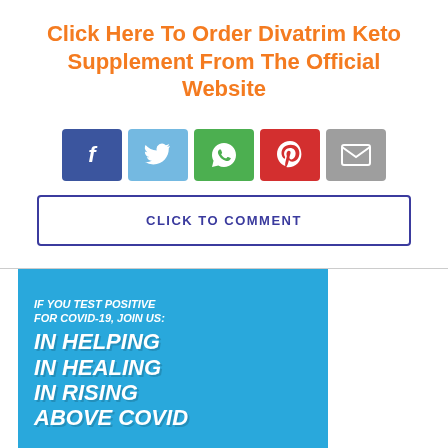Click Here To Order Divatrim Keto Supplement From The Official Website
[Figure (infographic): Row of five social share buttons: Facebook (dark blue), Twitter (light blue), WhatsApp (green), Pinterest (red), Email (grey)]
CLICK TO COMMENT
[Figure (infographic): Blue COVID-19 infographic banner with white bold italic text reading: IF YOU TEST POSITIVE FOR COVID-19, JOIN US: IN HELPING / IN HEALING / IN RISING / ABOVE COVID]